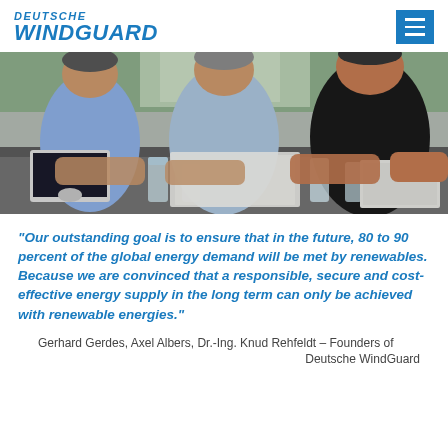DEUTSCHE WINDGUARD
[Figure (photo): Three men seated at a conference table in a meeting, with glasses of water, papers, and a laptop visible. Indoor setting with greenery visible through window in background.]
"Our outstanding goal is to ensure that in the future, 80 to 90 percent of the global energy demand will be met by renewables. Because we are convinced that a responsible, secure and cost-effective energy supply in the long term can only be achieved with renewable energies."
Gerhard Gerdes, Axel Albers, Dr.-Ing. Knud Rehfeldt – Founders of
Deutsche WindGuard